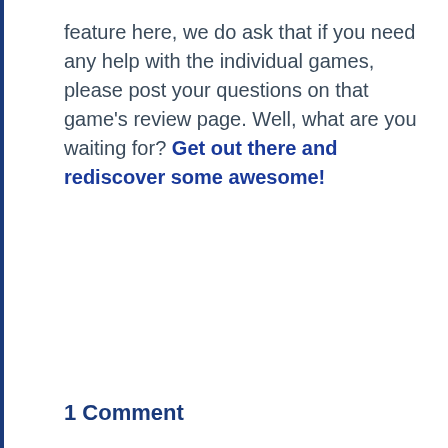feature here, we do ask that if you need any help with the individual games, please post your questions on that game's review page. Well, what are you waiting for? Get out there and rediscover some awesome!
1 Comment